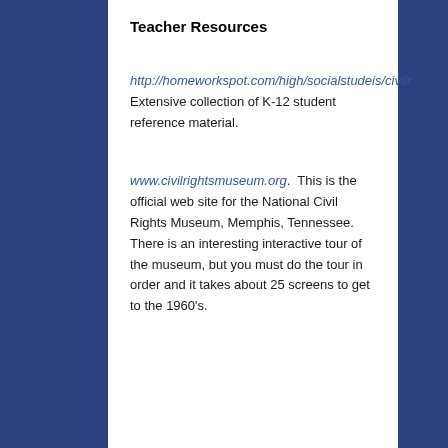Teacher Resources
http://homeworkspot.com/high/socialstudeis/civilr
Extensive collection of K-12 student reference material.
www.civilrightsmuseum.org.  This is the official web site for the National Civil Rights Museum, Memphis, Tennessee.  There is an interesting interactive tour of the museum, but you must do the tour in order and it takes about 25 screens to get to the 1960's.